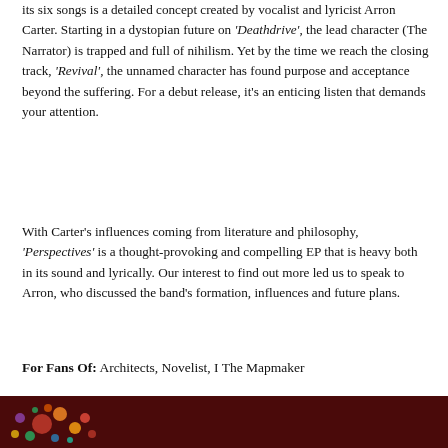its six songs is a detailed concept created by vocalist and lyricist Arron Carter. Starting in a dystopian future on 'Deathdrive', the lead character (The Narrator) is trapped and full of nihilism. Yet by the time we reach the closing track, 'Revival', the unnamed character has found purpose and acceptance beyond the suffering. For a debut release, it's an enticing listen that demands your attention.
With Carter's influences coming from literature and philosophy, 'Perspectives' is a thought-provoking and compelling EP that is heavy both in its sound and lyrically. Our interest to find out more led us to speak to Arron, who discussed the band's formation, influences and future plans.
For Fans Of: Architects, Novelist, I The Mapmaker
[Figure (photo): Dark red/maroon background banner at bottom of page with colorful dotted decorative elements visible at lower left]